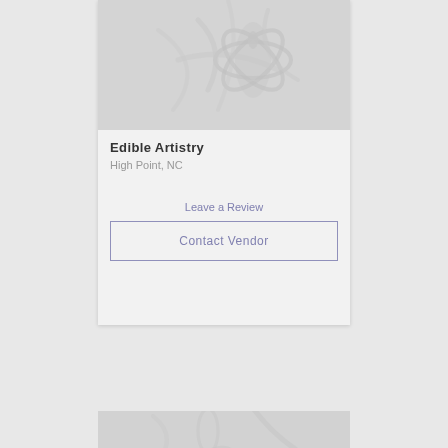[Figure (illustration): Decorative floral/sand dollar pattern in light gray on card header background]
Edible Artistry
High Point, NC
Leave a Review
Contact Vendor
[Figure (illustration): Partial decorative floral pattern on second card header, partially visible at bottom of page]